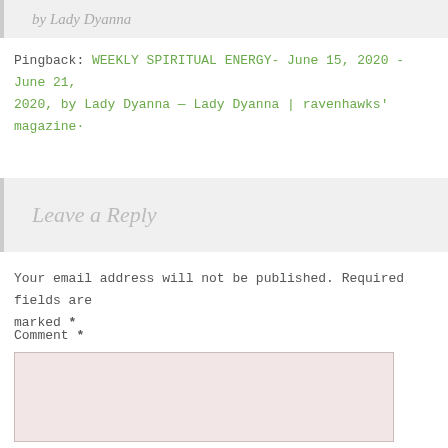by Lady Dyanna
Pingback: WEEKLY SPIRITUAL ENERGY- June 15, 2020 - June 21, 2020, by Lady Dyanna — Lady Dyanna | ravenhawks' magazine·
Leave a Reply
Your email address will not be published. Required fields are marked *
Comment *